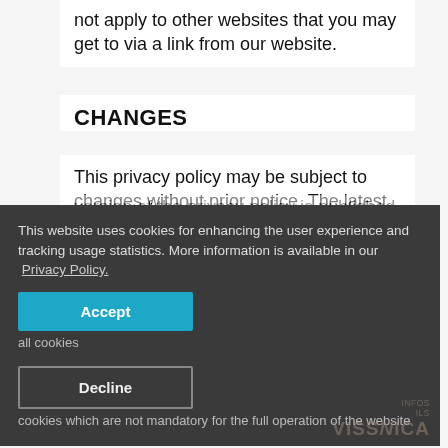not apply to other websites that you may get to via a link from our website.
CHANGES
This privacy policy may be subject to changes without prior notice. The latest version of the privacy policy is published on this website.
[Figure (screenshot): Cookie consent overlay with dark background. Contains text: 'This website uses cookies for enhancing the user experience and tracking usage statistics. More information is available in our Privacy Policy.' An 'Accept' button (blue) and a 'Decline' button (outlined dark). Accept label: 'all cookies'. Decline label: 'cookies which are not mandatory for the full operation of the website'.]